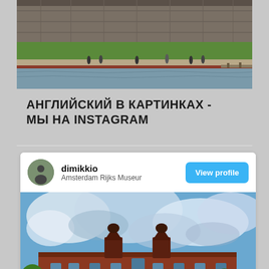[Figure (photo): Top partial photo showing a stone fortress or historic wall structure with green lawn, water in foreground, people visible along a walkway]
АНГЛИЙСКИЙ В КАРТИНКАХ - МЫ НА INSTAGRAM
[Figure (screenshot): Instagram profile card for user 'dimikkio' located at Amsterdam Rijks Museum, with a View profile button and a colorful impressionist-style painting of the Rijksmuseum Amsterdam below]